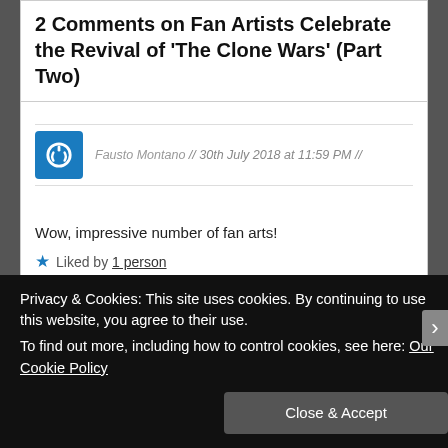2 Comments on Fan Artists Celebrate the Revival of 'The Clone Wars' (Part Two)
Fausto Montano // 30th July 2018 at 11:59 PM //
Wow, impressive number of fan arts!
★ Liked by 1 person
Fausto Montano // 10th August 2018 at 11:54 PM //
Privacy & Cookies: This site uses cookies. By continuing to use this website, you agree to their use.
To find out more, including how to control cookies, see here: Our Cookie Policy